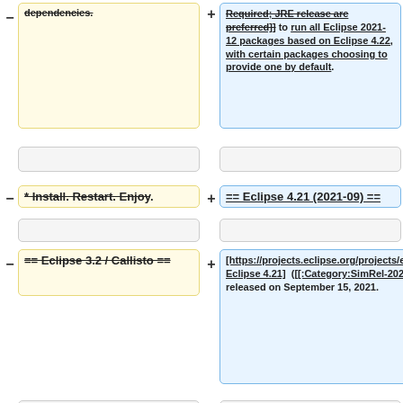[removed] dependencies.
[added] Required; JRE release are preferred]] to run all Eclipse 2021-12 packages based on Eclipse 4.22, with certain packages choosing to provide one by default.
[empty row]
[removed] * Install. Restart. Enjoy.
[added] == Eclipse 4.21 (2021-09) ==
[empty row]
[removed] == Eclipse 3.2 / Callisto ==
[added] [https://projects.eclipse.org/projects/eclipse/releases/4.21.0 Eclipse 4.21] ([[:Category:SimRel-2021-09|2021-09]]) was released on September 15, 2021.
[empty row]
[removed partial] * [[#InstallJVM| Install...
[added partial] * [[#InstallJRE|||Java 11|...